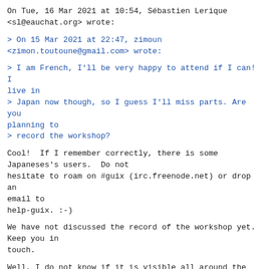On Tue, 16 Mar 2021 at 10:54, Sébastien Lerique <sl@eauchat.org> wrote:
> On 15 Mar 2021 at 22:47, zimoun <zimon.toutoune@gmail.com> wrote:
> I am French, I'll be very happy to attend if I can! I live in
> Japan now though, so I guess I'll miss parts. Are you planning to
> record the workshop?
Cool!  If I remember correctly, there is some Japaneses's users.  Do not
hesitate to roam on #guix (irc.freenode.net) or drop an email to
help-guix. :-)
We have not discussed the record of the workshop yet.  Keep you in
touch.
Well, I do not know if it is visible all around the world, here some
materials:
<https://calcul.math.cnrs.fr/2021-01-anf-ust4hpc-2021.html#programme>
If I may, I would recommend the Konrad's talk because